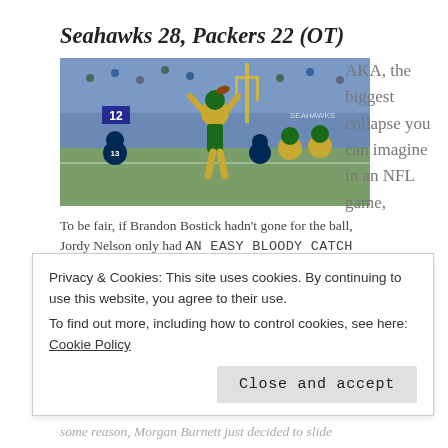Seahawks 28, Packers 22 (OT)
[Figure (photo): NFL game action shot showing Green Bay Packers player leaping to catch a ball, Seattle Seahawks players including #13 visible on the field at CenturyLink Field]
AKA, the biggest collapse you can imagine in an NFL game,
To be fair, if Brandon Bostick hadn't gone for the ball, Jordy Nelson only had AN EASY BLOODY CATCH
Privacy & Cookies: This site uses cookies. By continuing to use this website, you agree to their use. To find out more, including how to control cookies, see here: Cookie Policy
Close and accept
some reason, Morgan Burnett just decided to slide